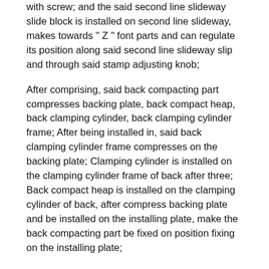with screw; and the said second line slideway slide block is installed on second line slideway, makes towards " Z " font parts and can regulate its position along said second line slideway slip and through said stamp adjusting knob;
After comprising, said back compacting part compresses backing plate, back compact heap, back clamping cylinder, back clamping cylinder frame; After being installed in, said back clamping cylinder frame compresses on the backing plate; Clamping cylinder is installed on the clamping cylinder frame of back after three; Back compact heap is installed on the clamping cylinder of back, after compress backing plate and be installed on the installing plate, make the back compacting part be fixed on position fixing on the installing plate;
Said cut-out parts comprise cut off installing plate, the 3rd line slideway, the 3rd line slideway slide block, upper slitter bar, on cut off cylinder, cutter, incision die cylinder, bottom knife seat, bottom knife; Said the 3rd line slideway, said cylinder, the said incision cylinder of dying that go up to cut off are installed on the said cut-out installing plate; Said cutter and two the 3rd line slideway slide blocks are installed on the upper slitter bar; Said bottom knife and two